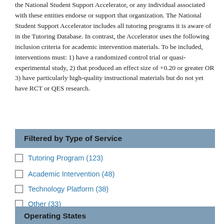the National Student Support Accelerator, or any individual associated with these entities endorse or support that organization. The National Student Support Accelerator includes all tutoring programs it is aware of in the Tutoring Database. In contrast, the Accelerator uses the following inclusion criteria for academic intervention materials. To be included, interventions must: 1) have a randomized control trial or quasi-experimental study, 2) that produced an effect size of +0.20 or greater OR 3) have particularly high-quality instructional materials but do not yet have RCT or QES research.
Filtered by Type of Service
Tutoring Program (123)
Academic Intervention (48)
Technology Platform (38)
Other (33)
Operating States